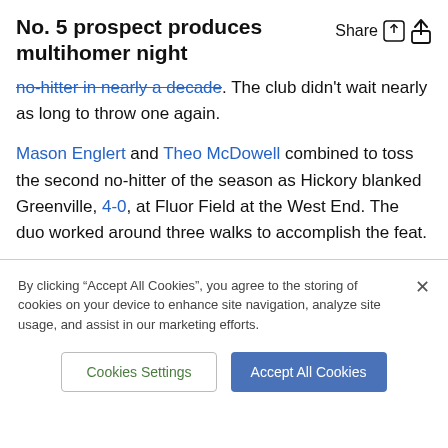No. 5 prospect produces multihomer night
no-hitter in nearly a decade. The club didn't wait nearly as long to throw one again.
Mason Englert and Theo McDowell combined to toss the second no-hitter of the season as Hickory blanked Greenville, 4-0, at Fluor Field at the West End. The duo worked around three walks to accomplish the feat.
By clicking “Accept All Cookies”, you agree to the storing of cookies on your device to enhance site navigation, analyze site usage, and assist in our marketing efforts.